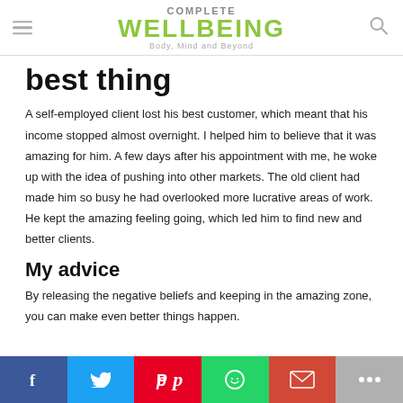COMPLETE WELLBEING — Body, Mind and Beyond
best thing
A self-employed client lost his best customer, which meant that his income stopped almost overnight. I helped him to believe that it was amazing for him. A few days after his appointment with me, he woke up with the idea of pushing into other markets. The old client had made him so busy he had overlooked more lucrative areas of work. He kept the amazing feeling going, which led him to find new and better clients.
My advice
By releasing the negative beliefs and keeping in the amazing zone, you can make even better things happen.